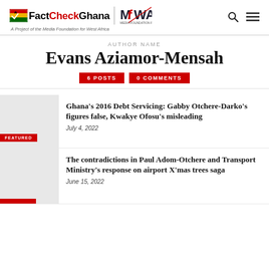FactCheckGhana | A Project of the Media Foundation for West Africa
AUTHOR NAME
Evans Aziamor-Mensah
6 POSTS   0 COMMENTS
Ghana's 2016 Debt Servicing: Gabby Otchere-Darko's figures false, Kwakye Ofosu's misleading
July 4, 2022
FEATURED
The contradictions in Paul Adom-Otchere and Transport Ministry's response on airport X'mas trees saga
June 15, 2022